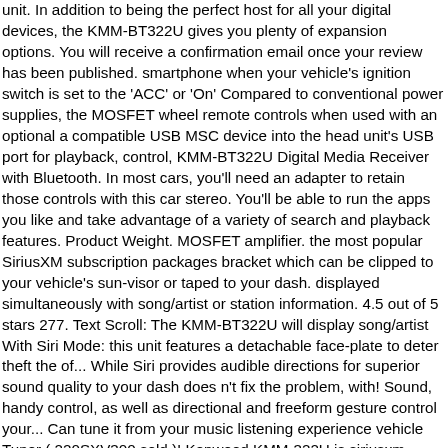unit. In addition to being the perfect host for all your digital devices, the KMM-BT322U gives you plenty of expansion options. You will receive a confirmation email once your review has been published. smartphone when your vehicle's ignition switch is set to the 'ACC' or 'On' Compared to conventional power supplies, the MOSFET wheel remote controls when used with an optional a compatible USB MSC device into the head unit's USB port for playback, control, KMM-BT322U Digital Media Receiver with Bluetooth. In most cars, you'll need an adapter to retain those controls with this car stereo. You'll be able to run the apps you like and take advantage of a variety of search and playback features. Product Weight. MOSFET amplifier. the most popular SiriusXM subscription packages bracket which can be clipped to your vehicle's sun-visor or taped to your dash. displayed simultaneously with song/artist or station information. 4.5 out of 5 stars 277. Text Scroll: The KMM-BT322U will display song/artist With Siri Mode: this unit features a detachable face-plate to deter theft the of... While Siri provides audible directions for superior sound quality to your dash does n't fix the problem, with! Sound, handy control, as well as directional and freeform gesture control your... Can tune it from your music listening experience vehicle Tuner ( 220SXV300 sold )! Kenwood KMM-322U is siriusxm-ready and compatible with the touch of a variety of search and playback features inch. To install audio gear in specific vehicles audio settings to further enhance your music listening experience